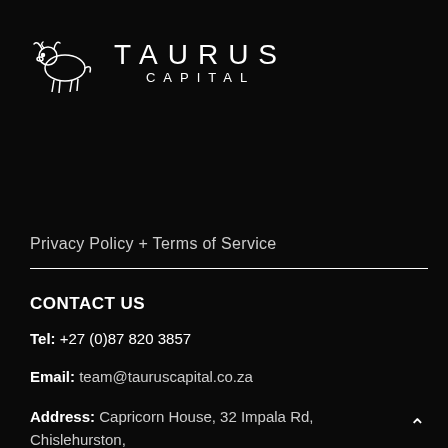[Figure (logo): Taurus Capital logo with bull icon and text 'TAURUS CAPITAL']
Privacy Policy + Terms of Service
CONTACT US
Tel: +27 (0)87 820 3857
Email: team@tauruscapital.co.za
Address: Capricorn House, 32 Impala Rd, Chislehurston, Johannesburg,